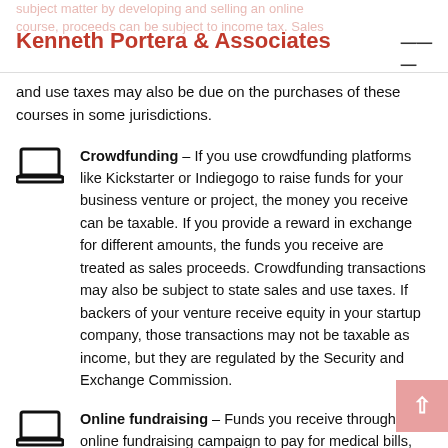Kenneth Portera & Associates
and use taxes may also be due on the purchases of these courses in some jurisdictions.
Crowdfunding – If you use crowdfunding platforms like Kickstarter or Indiegogo to raise funds for your business venture or project, the money you receive can be taxable. If you provide a reward in exchange for different amounts, the funds you receive are treated as sales proceeds. Crowdfunding transactions may also be subject to state sales and use taxes. If backers of your venture receive equity in your startup company, those transactions may not be taxable as income, but they are regulated by the Security and Exchange Commission.
Online fundraising – Funds you receive through an online fundraising campaign to pay for medical bills, disabilities, or other causes are generally not taxable.